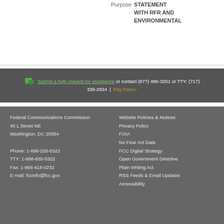Purpose    STATEMENT WITH RFR AND ENVIRONMENTAL
Submit a help request for assistance or contact (877) 480-3201 or TTY: (717) 338-2824  |  Pay Fees
Federal Communications Commission
45 L Street NE
Washington, DC 20554

Phone: 1-888-225-5322
TTY: 1-888-835-5322
Fax: 1-866-418-0232
E-mail: fccinfo@fcc.gov
Website Policies & Notices
Privacy Policy
FOIA
No Fear Act Data
FCC Digital Strategy
Open Government Directive
Plain Writing Act
RSS Feeds & Email Updates
Accessibility